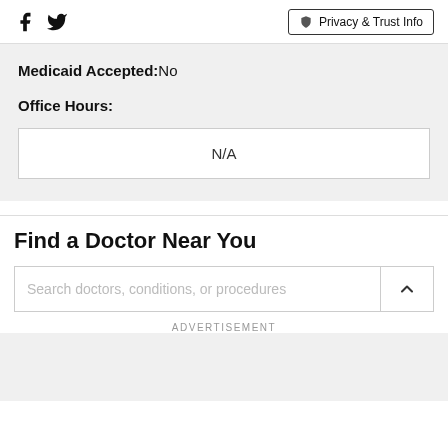Facebook Twitter | Privacy & Trust Info
Medicaid Accepted: No
Office Hours:
| N/A |
Find a Doctor Near You
Search doctors, conditions, or procedures
ADVERTISEMENT